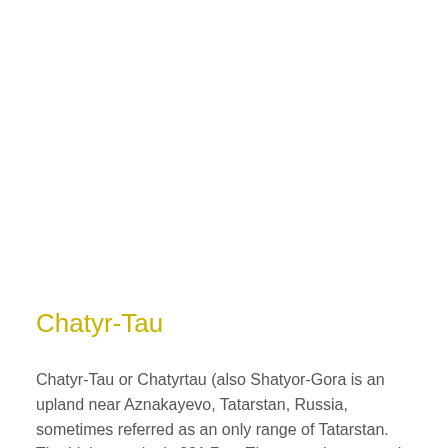Chatyr-Tau
Chatyr-Tau or Chatyrtau (also Shatyor-Gora is an upland near Aznakayevo, Tatarstan, Russia, sometimes referred as an only range of Tatarstan. The highest point is 321.7 m. The range is a natural